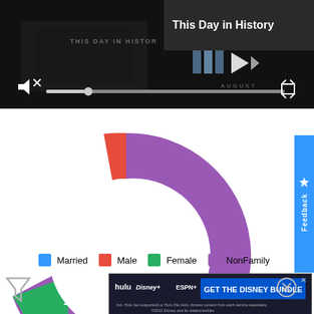[Figure (screenshot): Video player showing 'This Day in History' with play button, mute, progress bar, fullscreen controls on dark background]
This Day in History
[Figure (donut-chart): ]
Married   Male   Female   NonFamily
[Figure (screenshot): Disney Bundle advertisement: hulu, Disney+, ESPN+ - GET THE DISNEY BUNDLE. Incl. Hulu (ad-supported) or Hulu (No Ads). Access content from each service separately. ©2021 Disney and its related entities]
[Figure (other): Filter/funnel icon on left side]
[Figure (other): Feedback tab on right side]
[Figure (other): Close circle icon on right side]